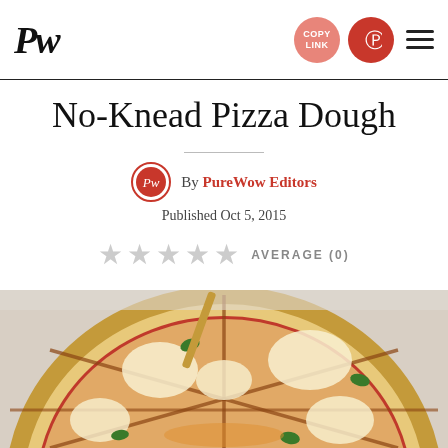PW — COPY LINK [Pinterest] [Menu]
No-Knead Pizza Dough
By PureWow Editors
Published Oct 5, 2015
AVERAGE (0)
[Figure (photo): A margherita pizza sliced into pieces on a wooden board, topped with tomato sauce, mozzarella cheese, and fresh basil leaves, viewed from above.]